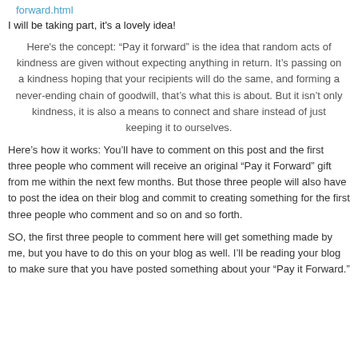forward.html
I will be taking part, it's a lovely idea!
Here's the concept: “Pay it forward” is the idea that random acts of kindness are given without expecting anything in return. It’s passing on a kindness hoping that your recipients will do the same, and forming a never-ending chain of goodwill, that’s what this is about. But it isn’t only kindness, it is also a means to connect and share instead of just keeping it to ourselves.
Here’s how it works: You’ll have to comment on this post and the first three people who comment will receive an original “Pay it Forward” gift from me within the next few months. But those three people will also have to post the idea on their blog and commit to creating something for the first three people who comment and so on and so forth.
SO, the first three people to comment here will get something made by me, but you have to do this on your blog as well. I’ll be reading your blog to make sure that you have posted something about your “Pay it Forward.”